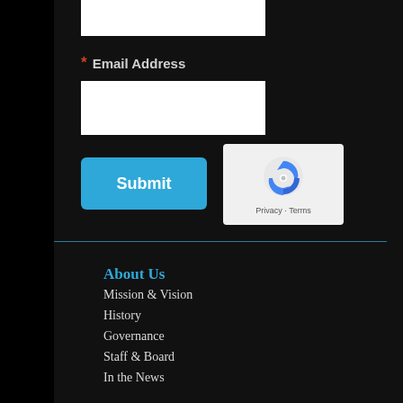* Email Address
[Figure (screenshot): Email address text input field (white rectangle)]
[Figure (screenshot): Submit button (blue rounded rectangle with white 'Submit' text)]
[Figure (other): reCAPTCHA widget with spinning arrows logo and Privacy - Terms text]
About Us
Mission & Vision
History
Governance
Staff & Board
In the News